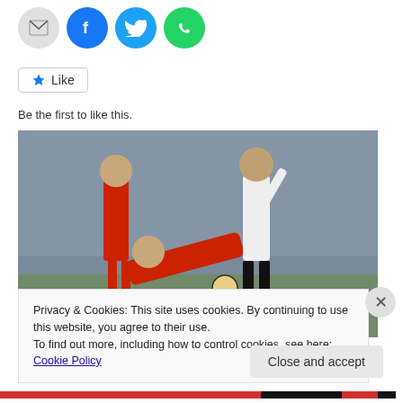[Figure (infographic): Row of social share icons: email (grey circle), Facebook (blue circle), Twitter (blue circle), WhatsApp (green circle)]
[Figure (other): Like button with star icon]
Be the first to like this.
[Figure (photo): Football/soccer match action photo showing players in red Liverpool kits and a player in white and black kit competing for the ball on a pitch with crowd in background]
Privacy & Cookies: This site uses cookies. By continuing to use this website, you agree to their use.
To find out more, including how to control cookies, see here: Cookie Policy
[Figure (other): Close and accept button for cookie banner]